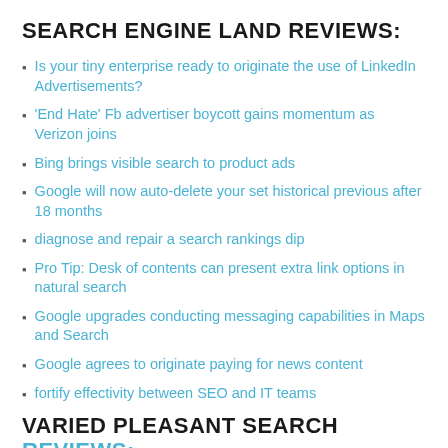SEARCH ENGINE LAND REVIEWS:
Is your tiny enterprise ready to originate the use of LinkedIn Advertisements?
'End Hate' Fb advertiser boycott gains momentum as Verizon joins
Bing brings visible search to product ads
Google will now auto-delete your set historical previous after 18 months
diagnose and repair a search rankings dip
Pro Tip: Desk of contents can present extra link options in natural search
Google upgrades conducting messaging capabilities in Maps and Search
Google agrees to originate paying for news content
fortify effectivity between SEO and IT teams
VARIED PLEASANT SEARCH REVIEWS: